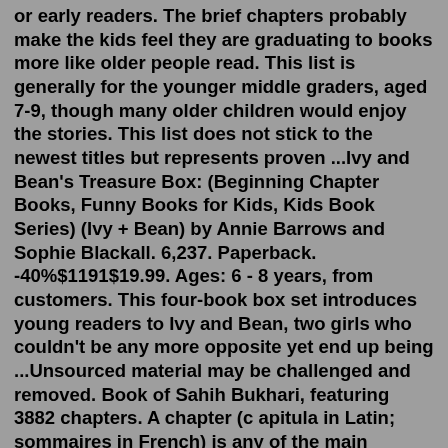or early readers. The brief chapters probably make the kids feel they are graduating to books more like older people read. This list is generally for the younger middle graders, aged 7-9, though many older children would enjoy the stories. This list does not stick to the newest titles but represents proven ...Ivy and Bean's Treasure Box: (Beginning Chapter Books, Funny Books for Kids, Kids Book Series) (Ivy + Bean) by Annie Barrows and Sophie Blackall. 6,237. Paperback. -40%$1191$19.99. Ages: 6 - 8 years, from customers. This four-book box set introduces young readers to Ivy and Bean, two girls who couldn't be any more opposite yet end up being ...Unsourced material may be challenged and removed. Book of Sahih Bukhari, featuring 3882 chapters. A chapter (c apitula in Latin; sommaires in French) is any of the main thematic divisions within a writing of relative length, such as a book of prose, poetry, or law. A chapter book may have multiple chapters that respectively comprise discrete ... The Berenstain